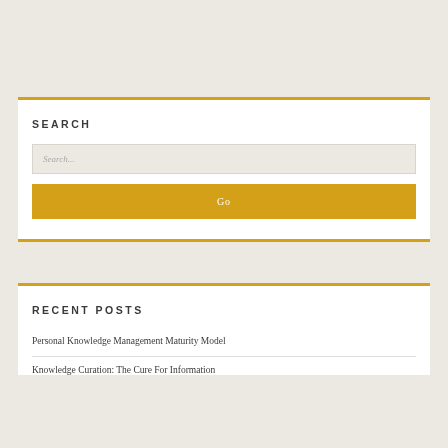SEARCH
Search...
Go
RECENT POSTS
Personal Knowledge Management Maturity Model
Knowledge Curation: The Cure For Information